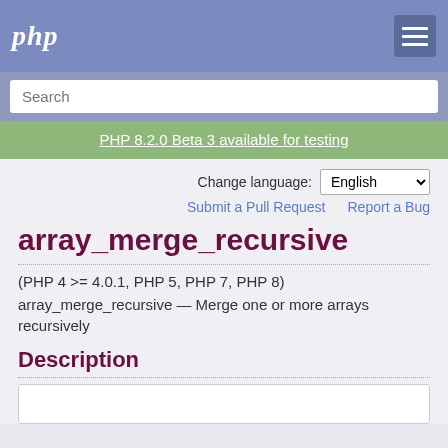php
Search
PHP 8.2.0 Beta 3 available for testing
Change language: English
Submit a Pull Request   Report a Bug
array_merge_recursive
(PHP 4 >= 4.0.1, PHP 5, PHP 7, PHP 8)
array_merge_recursive — Merge one or more arrays recursively
Description